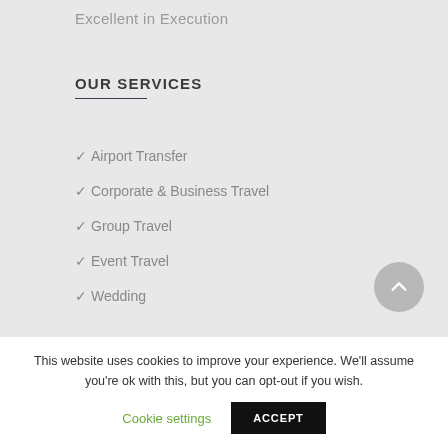Excellent in Execution
OUR SERVICES
✓ Airport Transfer
✓ Corporate & Business Travel
✓ Group Travel
✓ Event Travel
✓ Wedding
This website uses cookies to improve your experience. We'll assume you're ok with this, but you can opt-out if you wish.
Cookie settings
ACCEPT